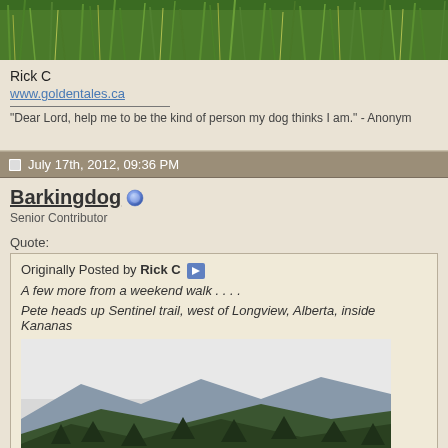[Figure (photo): Close-up photo of green grass/reeds at the top of the page]
Rick C
www.goldentales.ca
"Dear Lord, help me to be the kind of person my dog thinks I am." - Anonym
July 17th, 2012, 09:36 PM
Barkingdog
Senior Contributor
Quote:
Originally Posted by Rick C
A few more from a weekend walk . . . .

Pete heads up Sentinel trail, west of Longview, Alberta, inside Kananas
[Figure (photo): Landscape photo showing forested mountains under overcast sky]